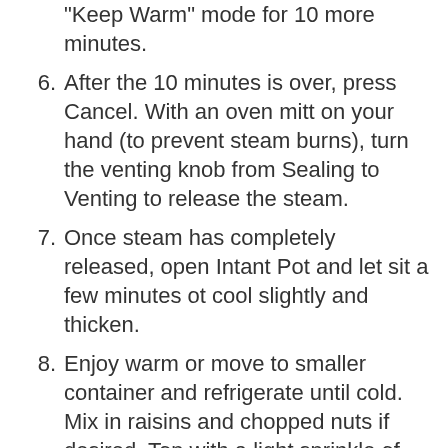After cook time is finished, leave it in "Keep Warm" mode for 10 more minutes.
6. After the 10 minutes is over, press Cancel. With an oven mitt on your hand (to prevent steam burns), turn the venting knob from Sealing to Venting to release the steam.
7. Once steam has completely released, open Intant Pot and let sit a few minutes ot cool slightly and thicken.
8. Enjoy warm or move to smaller container and refrigerate until cold. Mix in raisins and chopped nuts if desired. Top with a light sprinkle of cinnamon or serve as is...it is already well spiced. Pudding will thicken considerably once cold.